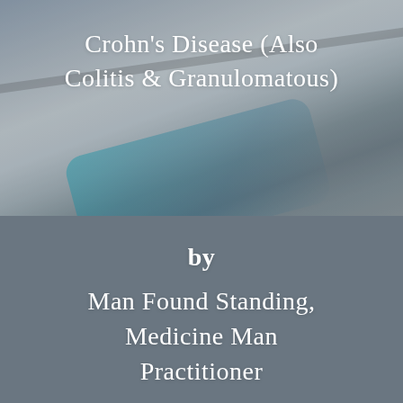Crohn's Disease (Also Colitis & Granulomatous)
by
Man Found Standing, Medicine Man Practitioner